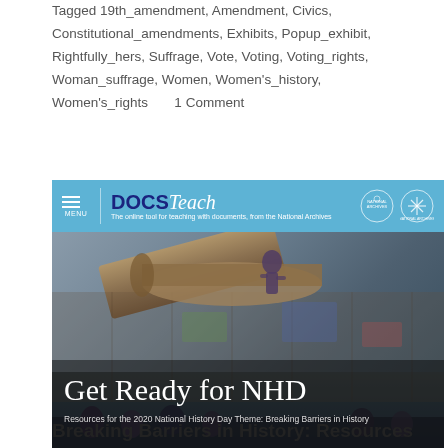Tagged 19th_amendment, Amendment, Civics, Constitutional_amendments, Exhibits, Popup_exhibit, Rightfully_hers, Suffrage, Vote, Voting, Voting_rights, Woman_suffrage, Women, Women's_history, Women's_rights      1 Comment
[Figure (screenshot): Screenshot of DocsTeach website with blue header bar showing logo 'DOCSTeach - The online tool for teaching with documents, from the National Archives', and a banner image showing someone climbing a wall, titled 'Get Ready for NHD' with subtitle 'Resources for the 2020 National History Day Theme: Breaking Barriers in History']
Breaking Barriers in History: Resources